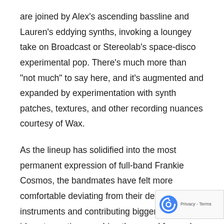are joined by Alex's ascending bassline and Lauren's eddying synths, invoking a loungey take on Broadcast or Stereolab's space-disco experimental pop. There's much more than "not much" to say here, and it's augmented and expanded by experimentation with synth patches, textures, and other recording nuances courtesy of Wax.
As the lineup has solidified into the most permanent expression of full-band Frankie Cosmos, the bandmates have felt more comfortable deviating from their default instruments and contributing bigger-picture ideas to continue pushing the sound forward. The synergy of its creation is clear upon listening: the multiple hands dipping and re-dipping into each song form a multifaceted whole. The band's closeness and aesthetic cons[ensus has] freed its members to take more musically-formal risks, notes [bassist] "E... [text continues]"